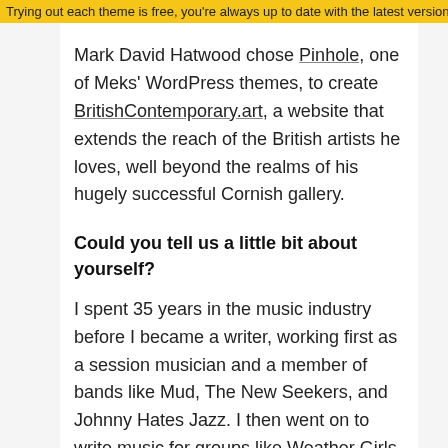Trying out each theme is free, you're always up to date with the latest version of our
Mark David Hatwood chose Pinhole, one of Meks' WordPress themes, to create BritishContemporary.art, a website that extends the reach of the British artists he loves, well beyond the realms of his hugely successful Cornish gallery.
Could you tell us a little bit about yourself?
I spent 35 years in the music industry before I became a writer, working first as a session musician and a member of bands like Mud, The New Seekers, and Johnny Hates Jazz. I then went on to write music for groups like Weather Girls and Culture beat before writing my first screenplay (Marcello Marcello) and book (Marcello's Date) in